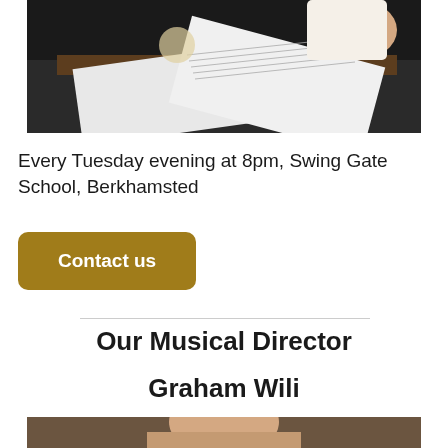[Figure (photo): Person looking at sheet music near a piano, holding large sheets of musical notation]
Every Tuesday evening at 8pm, Swing Gate School, Berkhamsted
Contact us
Our Musical Director
Graham Wili
[Figure (photo): Portrait photo of Graham Wili, musical director, partially visible at bottom of page]